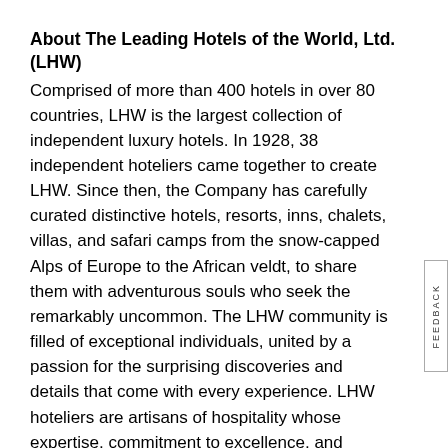About The Leading Hotels of the World, Ltd. (LHW)
Comprised of more than 400 hotels in over 80 countries, LHW is the largest collection of independent luxury hotels. In 1928, 38 independent hoteliers came together to create LHW. Since then, the Company has carefully curated distinctive hotels, resorts, inns, chalets, villas, and safari camps from the snow-capped Alps of Europe to the African veldt, to share them with adventurous souls who seek the remarkably uncommon. The LHW community is filled of exceptional individuals, united by a passion for the surprising discoveries and details that come with every experience. LHW hoteliers are artisans of hospitality whose expertise, commitment to excellence, and individual flair allows them to create story-worthy moments for their guests. And it is these authentic, individualized experiences combined with the warm hospitality and